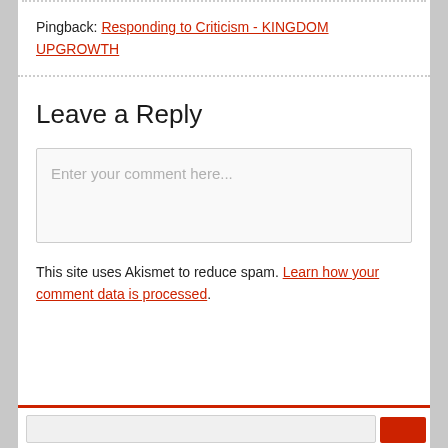Pingback: Responding to Criticism - KINGDOM UPGROWTH
Leave a Reply
Enter your comment here...
This site uses Akismet to reduce spam. Learn how your comment data is processed.